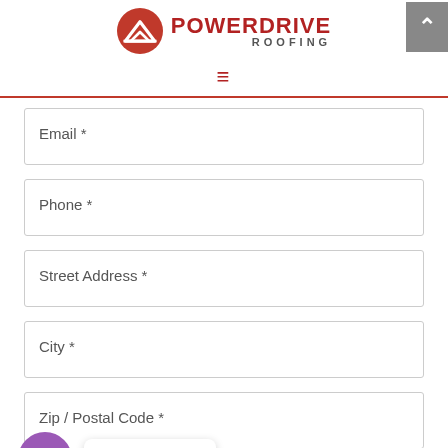[Figure (logo): PowerDrive Roofing logo with red mountain/roof icon circle and bold red POWERDRIVE text with grey ROOFING subtext]
[Figure (infographic): Hamburger menu icon (three horizontal lines) in red]
Email *
Phone *
Street Address *
City *
Zip / Postal Code *
Service Required *
Contact us